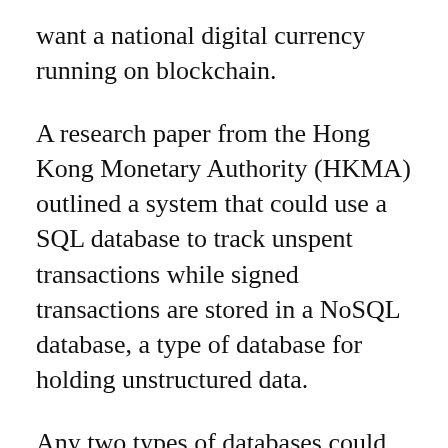want a national digital currency running on blockchain.
A research paper from the Hong Kong Monetary Authority (HKMA) outlined a system that could use a SQL database to track unspent transactions while signed transactions are stored in a NoSQL database, a type of database for holding unstructured data.
Any two types of databases could be used to track validation, according to the city’s de facto central bank, and thus protect the integrity of the system from issues like double spending.
In Iceland, the central bank specifically noted